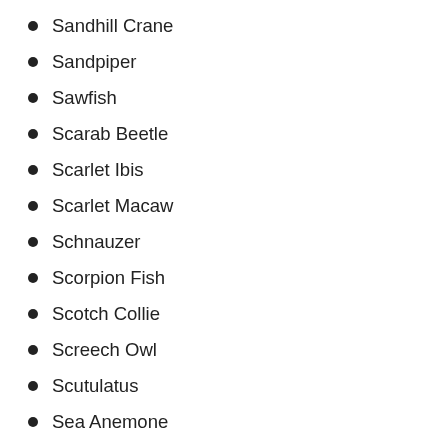Sandhill Crane
Sandpiper
Sawfish
Scarab Beetle
Scarlet Ibis
Scarlet Macaw
Schnauzer
Scorpion Fish
Scotch Collie
Screech Owl
Scutulatus
Sea Anemone